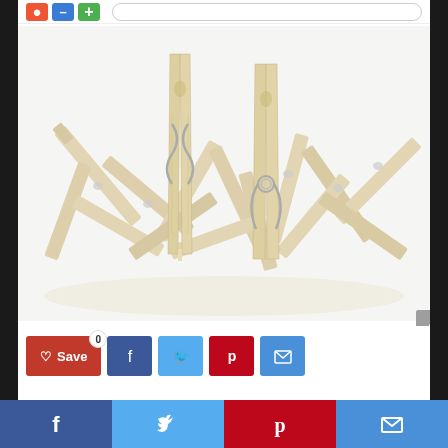[Figure (screenshot): Webpage screenshot showing wooden clothes pins/pegs piled together on a white background, with two pins standing upright in the foreground. The image is the main content of a web article page.]
[Figure (infographic): Social sharing bar with Save button (red, heart icon, count 0), Facebook (blue), Twitter (light blue), Pinterest (red), and Email (blue) buttons.]
Finding your suitable readers for clothes pins
[Figure (infographic): Footer social sharing bar with four equal sections: Facebook (dark blue), Twitter (light blue), Pinterest (red), Email (light blue).]